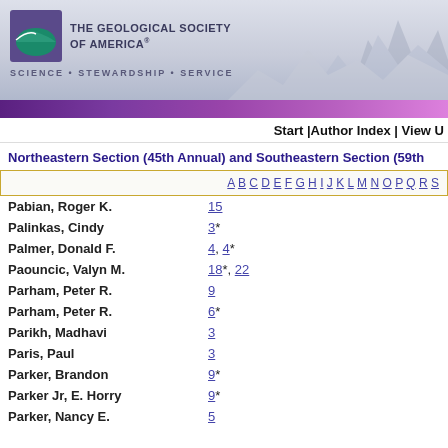[Figure (logo): The Geological Society of America logo with mountain/wave icon and text, with tagline 'SCIENCE • STEWARDSHIP • SERVICE' and mountain silhouette background]
Start |Author Index | View U
Northeastern Section (45th Annual) and Southeastern Section (59th
A B C D E F G H I J K L M N O P Q R S
Pabian, Roger K.    15
Palinkas, Cindy    3*
Palmer, Donald F.    4, 4*
Paouncic, Valyn M.    18*, 22
Parham, Peter R.    9
Parham, Peter R.    6*
Parikh, Madhavi    3
Paris, Paul    3
Parker, Brandon    9*
Parker Jr, E. Horry    9*
Parker, Nancy E.    5